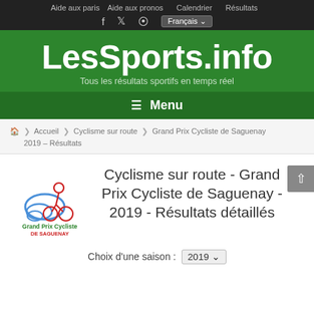Aide aux paris  Aide aux pronos  Calendrier  Résultats
LesSports.info
Tous les résultats sportifs en temps réel
☰  Menu
Accueil > Cyclisme sur route > Grand Prix Cycliste de Saguenay 2019 – Résultats
[Figure (logo): Grand Prix Cycliste de Saguenay event logo with cyclist and swirl design]
Cyclisme sur route - Grand Prix Cycliste de Saguenay - 2019 - Résultats détaillés
Choix d'une saison : 2019